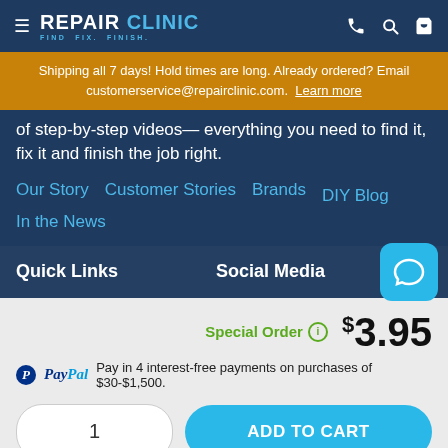REPAIR CLINIC — FIND. FIX. FINISH.
Shipping all 7 days! Hold times are long. Already ordered? Email customerservice@repairclinic.com. Learn more
of step-by-step videos— everything you need to find it, fix it and finish the job right.
Our Story   Customer Stories   Brands   DIY Blog   In the News
Quick Links
Social Media
Special Order  $3.95
PayPal Pay in 4 interest-free payments on purchases of $30-$1,500.
1
ADD TO CART